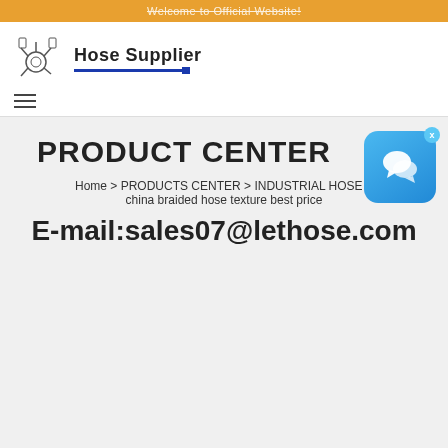Welcome to Official Website!
[Figure (logo): Hose Supplier logo with industrial machinery icon and blue underline]
[Figure (other): Hamburger menu icon (three horizontal lines)]
PRODUCT CENTER
Home > PRODUCTS CENTER > INDUSTRIAL HOSE > china braided hose texture best price
E-mail:sales07@lethose.com
[Figure (other): Chat widget button with speech bubble icon and close X button]
Big size (up to 12"), ultra-abrasion, high/low temperature and corrosion resistant, and multiple length choices. I stone